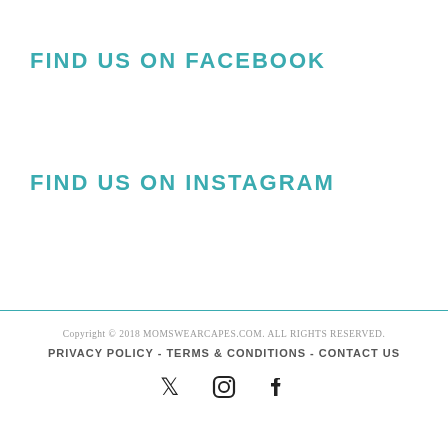FIND US ON FACEBOOK
FIND US ON INSTAGRAM
Copyright © 2018 MOMSWEARCAPES.COM. ALL RIGHTS RESERVED.
PRIVACY POLICY - TERMS & CONDITIONS - CONTACT US